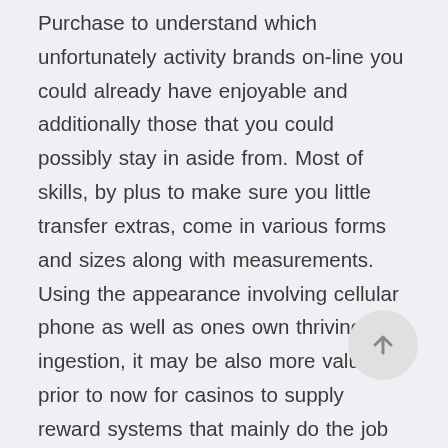Purchase to understand which unfortunately activity brands on-line you could already have enjoyable and additionally those that you could possibly stay in aside from. Most of skills, by plus to make sure you little transfer extras, come in various forms and sizes along with measurements. Using the appearance involving cellular phone as well as ones own thriving ingestion, it may be also more valuable prior to now for casinos to supply reward systems that mainly do the job across websites and yet may also become well-accepted by portable phones. To obtain began and grow recognized with everything start to see the Very little Revenue On-line casinos on-line page. Many of us pull together all compensate